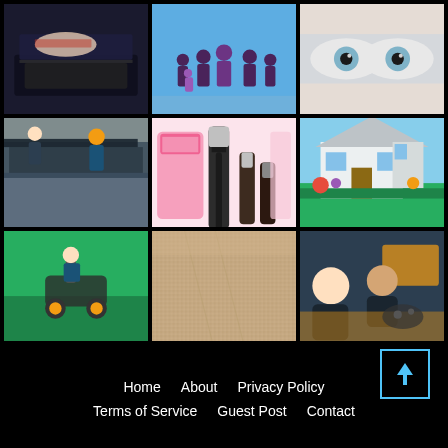[Figure (photo): Person typing on laptop with tattoos visible on arm]
[Figure (photo): Illustration of family silhouettes on teal background]
[Figure (photo): Close-up of human eyes]
[Figure (photo): Construction workers working underground with plastic sheeting]
[Figure (photo): Pink cosmetic/makeup products including mascara on white background]
[Figure (photo): House exterior with green lawn and colorful flower garden]
[Figure (photo): Person mowing green lawn]
[Figure (photo): Close-up of beige carpet texture]
[Figure (photo): Two young people playing video games on couch with controllers]
Home   About   Privacy Policy   Terms of Service   Guest Post   Contact